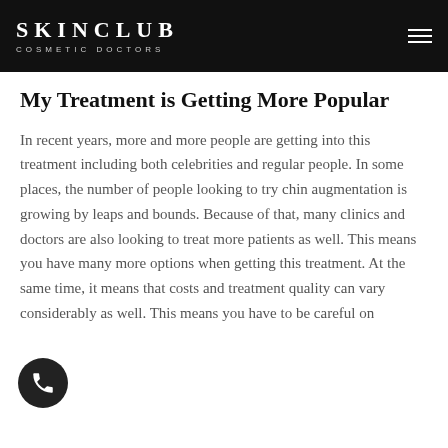SKINCLUB COSMETIC DOCTORS
My Treatment is Getting More Popular
In recent years, more and more people are getting into this treatment including both celebrities and regular people. In some places, the number of people looking to try chin augmentation is growing by leaps and bounds. Because of that, many clinics and doctors are also looking to treat more patients as well. This means you have many more options when getting this treatment. At the same time, it means that costs and treatment quality can vary considerably as well. This means you have to be careful on